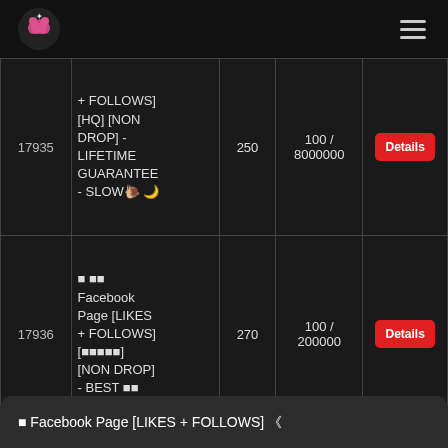Logo and navigation
| ID | Name | Price | Min/Max | Action |
| --- | --- | --- | --- | --- |
| 17935 | + FOLLOWS] [HQ] [NON DROP] - LIFETIME GUARANTEE - SLOW🐌🌙 | 250 | 100 / 8000000 | Details |
| 17936 | 🔥 𝗛𝗤 Facebook Page [LIKES + FOLLOWS] [🔥🔥🔥🔥🔥] [NON DROP] - BEST 🔥𝗛 | 270 | 100 / 200000 | Details |
🔥 Facebook Page [LIKES + FOLLOWS] 《